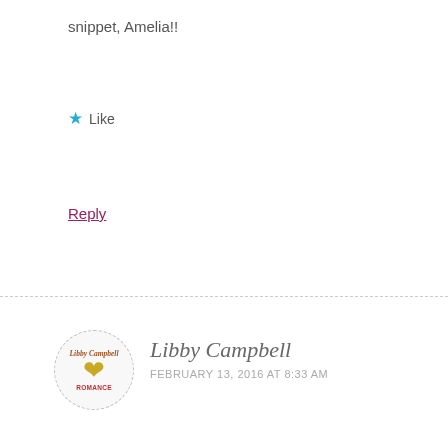snippet, Amelia!!
★ Like
Reply
Libby Campbell
FEBRUARY 13, 2016 AT 8:33 AM
Very nice! You capture the conflict of desire and reluctance perfectly.
★ Like
Reply